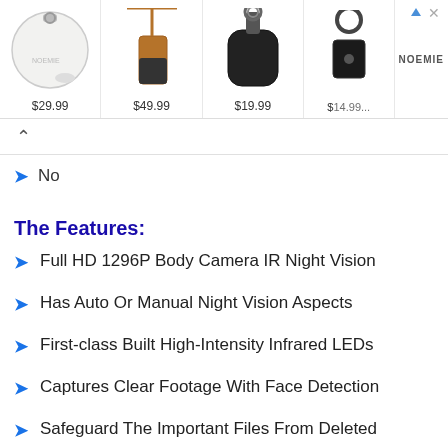[Figure (screenshot): Advertisement banner showing 4 leather accessory products with prices: $29.99, $49.99, $19.99, and a partially visible price. NOEMIE brand logo visible on right side.]
No
The Features:
Full HD 1296P Body Camera IR Night Vision
Has Auto Or Manual Night Vision Aspects
First-class Built High-Intensity Infrared LEDs
Captures Clear Footage With Face Detection
Safeguard The Important Files From Deleted
Portable Light Weight And One Key Structure